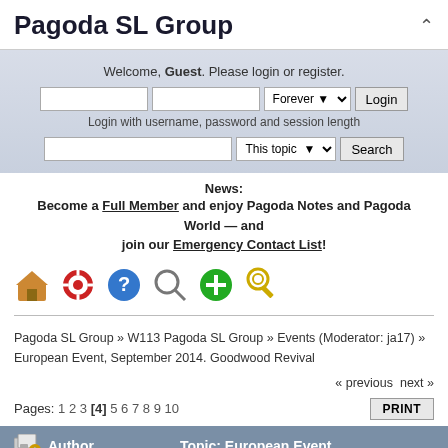Pagoda SL Group
Welcome, Guest. Please login or register.
Login with username, password and session length
News:
Become a Full Member and enjoy Pagoda Notes and Pagoda World — and join our Emergency Contact List!
[Figure (other): Navigation icon bar with home, help/lifesaver, info, search, add, and key icons]
Pagoda SL Group » W113 Pagoda SL Group » Events (Moderator: ja17) » European Event, September 2014. Goodwood Revival
« previous next »
Pages: 1 2 3 [4] 5 6 7 8 9 10
Author   Topic: European Event,
JamesL